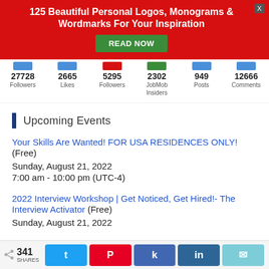[Figure (infographic): Red banner advertisement: '125 Beautiful Personal Logos, Monograms & Wordmarks For Your Inspiration' with green READ NOW button and gray X close button]
[Figure (infographic): Social stats row: 27728 Followers, 2665 Likes, 5295 Followers, 2302 JobMob Insiders, 949 Posts, 12666 Comments with colored icon bars]
Upcoming Events
Your Skills Are Wanted! FOR USA RESIDENCES ONLY! (Free)
Sunday, August 21, 2022
7:00 am - 10:00 pm (UTC-4)
2022 Interview Workshop | Get Noticed, Get Hired!- The Interview Activator (Free)
Sunday, August 21, 2022
341 SHARES  [Twitter] [Pinterest] [Facebook] [LinkedIn] [Email]